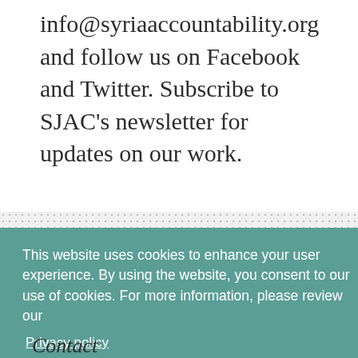info@syriaaccountability.org and follow us on Facebook and Twitter. Subscribe to SJAC's newsletter for updates on our work.
This website uses cookies to enhance your user experience. By using the website, you consent to our use of cookies. For more information, please review our Privacy policy
CONTINUE
Contact